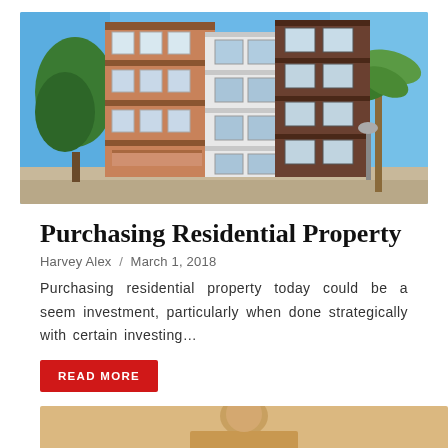[Figure (photo): Exterior photo of a multi-story residential apartment building with brown and white facade, balconies, surrounded by trees and blue sky]
Purchasing Residential Property
Harvey Alex  /  March 1, 2018
Purchasing residential property today could be a seem investment, particularly when done strategically with certain investing…
READ MORE
[Figure (photo): Partial photo of a person, cropped at bottom of page]